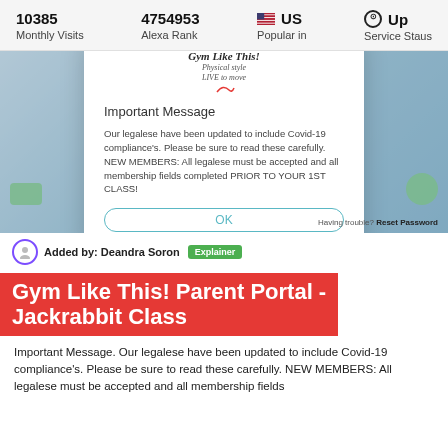10385 Monthly Visits | 4754953 Alexa Rank | US Popular in | Up Service Staus
[Figure (screenshot): Screenshot of Gym Like This! Parent Portal login page with a modal dialog showing 'Important Message' about legalese updated for Covid-19 compliance, with an OK button and Reset Password link visible.]
Added by: Deandra Soron  Explainer
Gym Like This! Parent Portal - Jackrabbit Class
Important Message. Our legalese have been updated to include Covid-19 compliance's. Please be sure to read these carefully. NEW MEMBERS: All legalese must be accepted and all membership fields